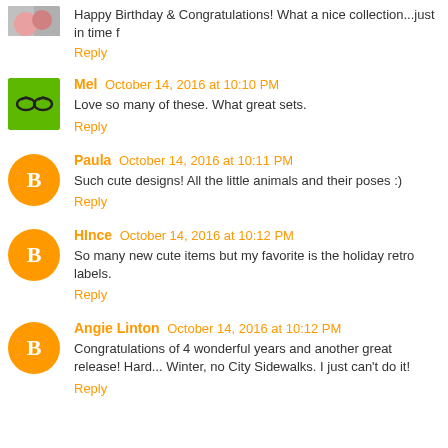Happy Birthday & Congratulations! What a nice collection...just in time f
Reply
Mel  October 14, 2016 at 10:10 PM
Love so many of these. What great sets.
Reply
Paula  October 14, 2016 at 10:11 PM
Such cute designs! All the little animals and their poses :)
Reply
HInce  October 14, 2016 at 10:12 PM
So many new cute items but my favorite is the holiday retro labels.
Reply
Angie Linton  October 14, 2016 at 10:12 PM
Congratulations of 4 wonderful years and another great release! Hard... Winter, no City Sidewalks. I just can't do it!
Reply